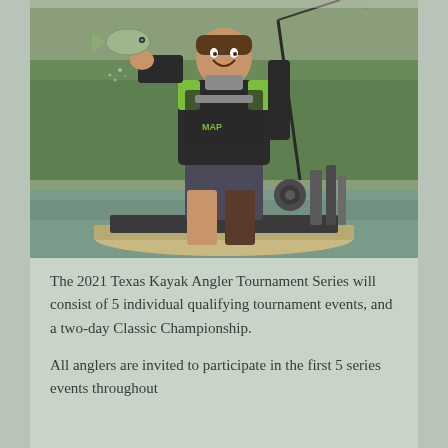[Figure (photo): A male angler standing on a kayak on water, holding up a bass fish with one hand and fishing rod in the other. He is wearing a dark jacket with green accents, dark shorts, and a neck gaiter. Fishing rod holders and equipment are visible on the kayak. Green vegetation is visible in the background.]
The 2021 Texas Kayak Angler Tournament Series will consist of 5 individual qualifying tournament events, and a two-day Classic Championship.
All anglers are invited to participate in the first 5 series events throughout